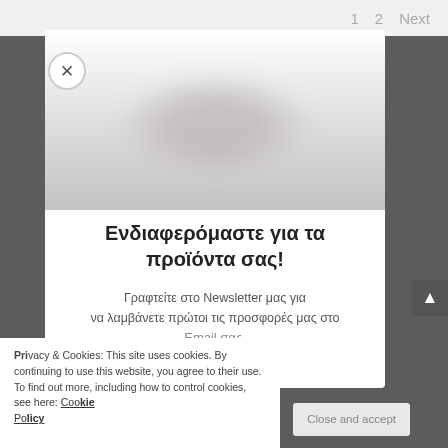1  2  Next
[Figure (screenshot): Close button (×) for modal dialog, circular white button with × symbol]
[Figure (photo): Blurred product image area inside modal dialog — white to gray gradient background with indistinct product silhouette]
Ενδιαφερόμαστε για τα προϊόντα σας!
Γραφτείτε στο Newsletter μας για να λαμβάνετε πρώτοι τις προσφορές μας στο Email σας.
Privacy & Cookies: This site uses cookies. By continuing to use this website, you agree to their use. To find out more, including how to control cookies, see here: Cookie Policy
Close and accept